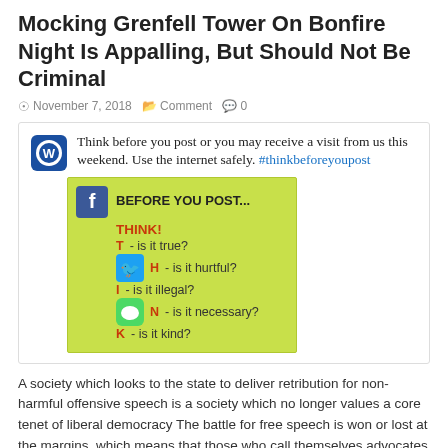Mocking Grenfell Tower On Bonfire Night Is Appalling, But Should Not Be Criminal
November 7, 2018  Comment  0
[Figure (screenshot): Screenshot of a police social media post with the THINK before you post infographic. Text reads: Think before you post or you may receive a visit from us this weekend. Use the internet safely. #thinkbeforeyoupost. Below is a green graphic with social media icons and the THINK acronym: T - is it true? H - is it hurtful? I - is it illegal? N - is it necessary? K - is it kind?]
A society which looks to the state to deliver retribution for non-harmful offensive speech is a society which no longer values a core tenet of liberal democracy The battle for free speech is won or lost at the margins, which means that those who call themselves advocates of free speech …
Read More »